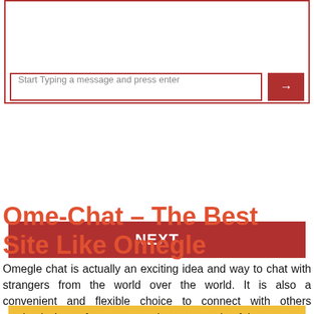[Figure (screenshot): Chat interface box with a text input field placeholder 'Start Typing a message and press enter' and a red send button with arrow icon]
NEXT
CHAT NOW
Ome-Chat – The Best Site Like Omegle
Omegle chat is actually an exciting idea and way to chat with strangers from the world over the world. It is also a convenient and flexible choice to connect with others randomly. Lots of gorgeous and sweet people of the